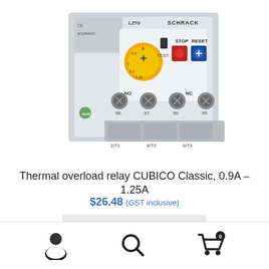[Figure (photo): Thermal overload relay CUBICO Classic product photo showing the device with yellow adjustment dial, STOP (red) and RESET (blue) buttons, TEST label, NO and NC terminals, screw terminals labeled 2/T1, 4/T2, 6/T3, and terminal numbers 98, 97, 96, 95. SCHRACK brand logo and LZT0 model number visible.]
Thermal overload relay CUBICO Classic, 0.9A – 1.25A
$26.48 (GST inclusive)
Add to cart